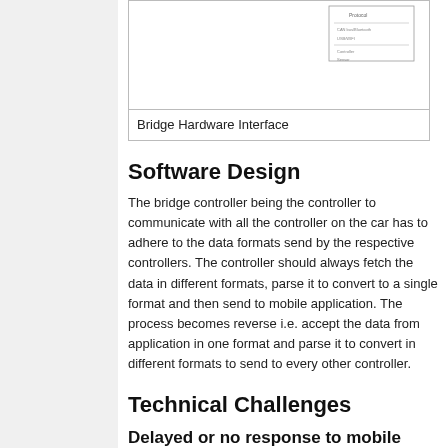[Figure (schematic): Bridge Hardware Interface schematic diagram showing a partial view of hardware connections]
Bridge Hardware Interface
Software Design
The bridge controller being the controller to communicate with all the controller on the car has to adhere to the data formats send by the respective controllers. The controller should always fetch the data in different formats, parse it to convert to a single format and then send to mobile application. The process becomes reverse i.e. accept the data from application in one format and parse it to convert in different formats to send to every other controller.
Technical Challenges
Delayed or no response to mobile switch on off data
Problem Summary: The on and off from the